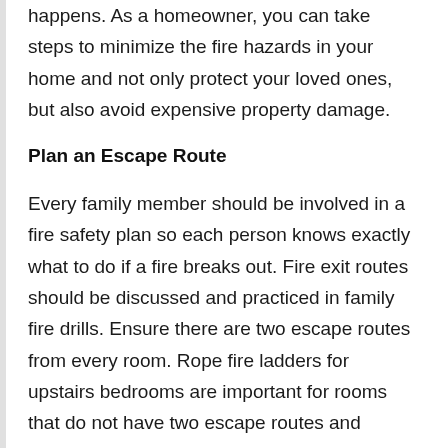happens. As a homeowner, you can take steps to minimize the fire hazards in your home and not only protect your loved ones, but also avoid expensive property damage.
Plan an Escape Route
Every family member should be involved in a fire safety plan so each person knows exactly what to do if a fire breaks out. Fire exit routes should be discussed and practiced in family fire drills. Ensure there are two escape routes from every room. Rope fire ladders for upstairs bedrooms are important for rooms that do not have two escape routes and should be stored under the bed. Practice using these ladders and ensure the screens and windows